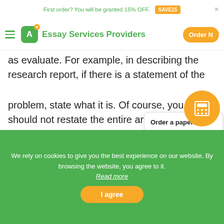First order? You will be granted 15% OFF.  SAVE15
Essay Services Providers  Order N
as evaluate. For example, in describing the research report, if there is a statement of the
problem, state what it is. Of course, you should not restate the entire article; you
[Figure (other): Popup box with text: Order a paper. Study better. Sleep tight. Calculate Price!]
should provide a summary of what is included focus on the most salient points in
each section.
[Figure (other): Orange circle with calculator icon]
We rely on cookies to give you the best experience on our website. By browsing the website, you agree to it. Read more
I agree